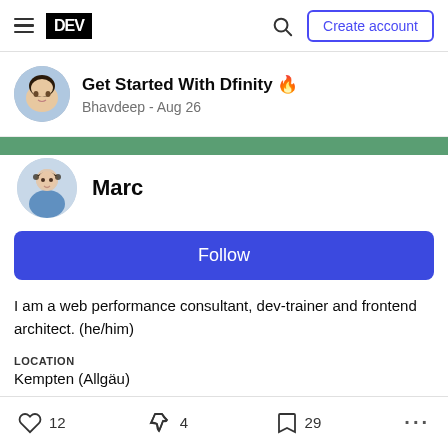DEV — Create account
Get Started With Dfinity 🔥
Bhavdeep - Aug 26
Marc
Follow
I am a web performance consultant, dev-trainer and frontend architect. (he/him)
LOCATION
Kempten (Allgäu)
12  4  29  ...